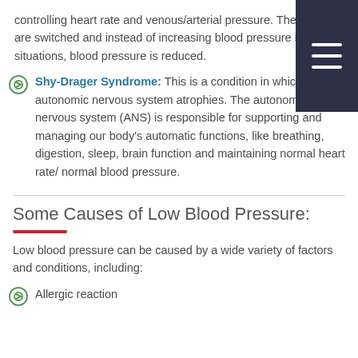controlling heart rate and venous/arterial pressure. The signals are switched and instead of increasing blood pressure in certain situations, blood pressure is reduced.
Shy-Drager Syndrome: This is a condition in which our autonomic nervous system atrophies. The autonomic nervous system (ANS) is responsible for supporting and managing our body's automatic functions, like breathing, digestion, sleep, brain function and maintaining normal heart rate/ normal blood pressure.
Some Causes of Low Blood Pressure:
Low blood pressure can be caused by a wide variety of factors and conditions, including:
Allergic reaction